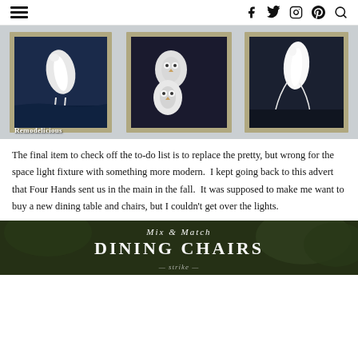Navigation bar with hamburger menu and social icons: facebook, twitter, instagram, pinterest, search
[Figure (photo): Three framed bird art prints (Audubon-style) mounted on a light gray wall: left frame shows a white egret, center frame shows two snowy owls, right frame shows a white egret/heron. Watermark reads 'Remodelicious'.]
The final item to check off the to-do list is to replace the pretty, but wrong for the space light fixture with something more modern.  I kept going back to this advert that Four Hands sent us in the main in the fall.  It was supposed to make me want to buy a new dining table and chairs, but I couldn't get over the lights.
[Figure (photo): Partial photo of a decorative sign with script lettering reading 'Mix & Match DINING CHAIRS' with trees in the background. Bottom text partially visible reading 'strike'.]